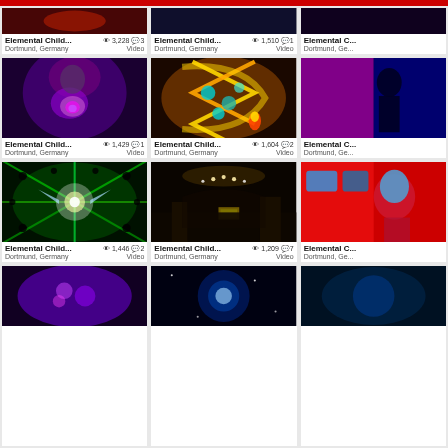[Figure (screenshot): Grid of video thumbnails from a social/video platform showing 'Elemental Child...' videos from Dortmund, Germany with view counts and comment counts]
Elemental Child... 👁 3,228 💬 3 | Dortmund, Germany | Video
Elemental Child... 👁 1,510 💬 1 | Dortmund, Germany | Video
Elemental Child... 👁 1,429 💬 1 | Dortmund, Germany | Video
Elemental Child... 👁 1,604 💬 2 | Dortmund, Germany | Video
Elemental Child... 👁 1,446 💬 2 | Dortmund, Germany | Video
Elemental Child... 👁 1,209 💬 7 | Dortmund, Germany | Video